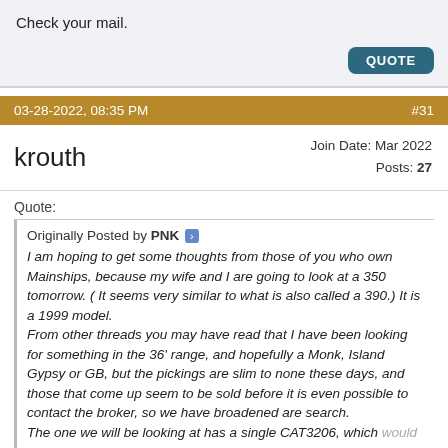Check your mail.
QUOTE
03-28-2022, 08:35 PM   #31
krouth   Join Date: Mar 2022   Posts: 27
Quote:
Originally Posted by PNK
I am hoping to get some thoughts from those of you who own Mainships, because my wife and I are going to look at a 350 tomorrow. ( It seems very similar to what is also called a 390.) It is a 1999 model.
From other threads you may have read that I have been looking for something in the 36' range, and hopefully a Monk, Island Gypsy or GB, but the pickings are slim to none these days, and those that come up seem to be sold before it is even possible to contact the broker, so we have broadened are search.
The one we will be looking at has a single CAT3206, which would not be my favorite, but I do prefer a single. It has about 4000 hours, the listing says it will cruise at around 8 knots, with consumption of around 1 gallon/nm, which